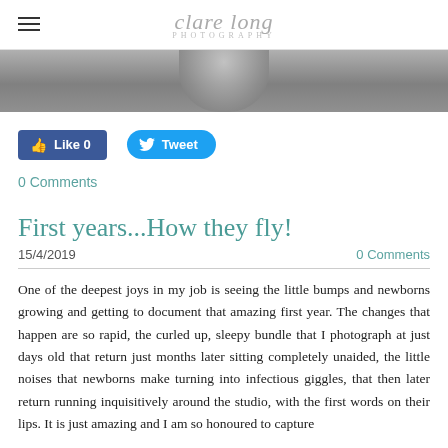clare long photography
[Figure (photo): Partial grey-tone photo strip at top of blog page, appears to be a portrait/baby photo cropped]
[Figure (infographic): Facebook Like 0 button and Twitter Tweet button]
0 Comments
First years...How they fly!
15/4/2019
0 Comments
One of the deepest joys in my job is seeing the little bumps and newborns growing and getting to document that amazing first year. The changes that happen are so rapid, the curled up, sleepy bundle that I photograph at just days old that return just months later sitting completely unaided, the little noises that newborns make turning into infectious giggles, that then later return running inquisitively around the studio, with the first words on their lips. It is just amazing and I am so honoured to capture